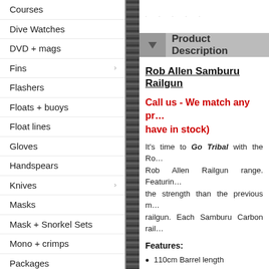Courses
Dive Watches
DVD + mags
Fins
Flashers
Floats + buoys
Float lines
Gloves
Handspears
Knives
Masks
Mask + Snorkel Sets
Mono + crimps
Packages
Reels
Roller Heads
Rubber
Product Description
Rob Allen Samburu Railgun
Call us - We match any price (on guns we have in stock)
It's time to Go Tribal with the Rob Allen Samburu - the latest addition to the Rob Allen Railgun range. Featuring the strength than the previous model railgun. Each Samburu Carbon rail
Features:
110cm Barrel length
New Carbon Barrel is 2x strong
Individually air brushed dual ca
Next Generation Vecta 2 handle